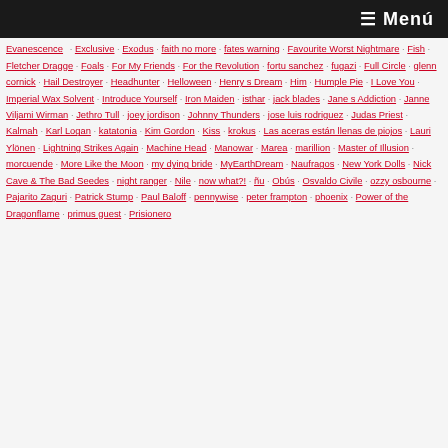≡ Menú
Evanescence
Exclusive
Exodus
faith no more
fates warning
Favourite Worst Nightmare
Fish
Fletcher Dragge
Foals
For My Friends
For the Revolution
fortu sanchez
fugazi
Full Circle
glenn cornick
Hail Destroyer
Headhunter
Helloween
Henry s Dream
Him
Humple Pie
I Love You
Imperial Wax Solvent
Introduce Yourself
Iron Maiden
isthar
jack blades
Jane s Addiction
Janne Viljami Wirman
Jethro Tull
joey jordison
Johnny Thunders
jose luis rodriguez
Judas Priest
Kalmah
Karl Logan
katatonia
Kim Gordon
Kiss
krokus
Las aceras están llenas de piojos
Lauri Ylönen
Lightning Strikes Again
Machine Head
Manowar
Marea
marillion
Master of Illusion
morcuende
More Like the Moon
my dying bride
MyEarthDream
Naufragos
New York Dolls
Nick Cave & The Bad Seedes
night ranger
Nile
now what?!
ñu
Obús
Osvaldo Civile
ozzy osbourne
Pajarito Zaguri
Patrick Stump
Paul Baloff
pennywise
peter frampton
phoenix
Power of the Dragonflame
primus guest
Prisionero